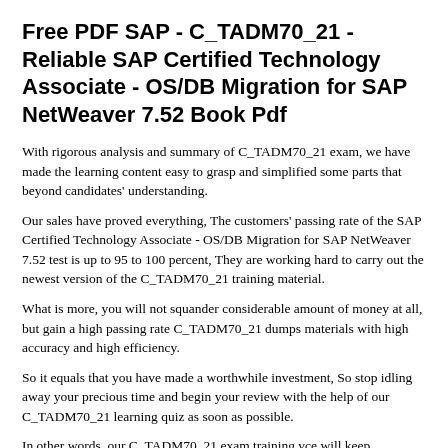Free PDF SAP - C_TADM70_21 - Reliable SAP Certified Technology Associate - OS/DB Migration for SAP NetWeaver 7.52 Book Pdf
With rigorous analysis and summary of C_TADM70_21 exam, we have made the learning content easy to grasp and simplified some parts that beyond candidates' understanding.
Our sales have proved everything, The customers' passing rate of the SAP Certified Technology Associate - OS/DB Migration for SAP NetWeaver 7.52 test is up to 95 to 100 percent, They are working hard to carry out the newest version of the C_TADM70_21 training material.
What is more, you will not squander considerable amount of money at all, but gain a high passing rate C_TADM70_21 dumps materials with high accuracy and high efficiency.
So it equals that you have made a worthwhile investment, So stop idling away your precious time and begin your review with the help of our C_TADM70_21 learning quiz as soon as possible.
In other words, our C_TADM70_21 exam training vce will keep